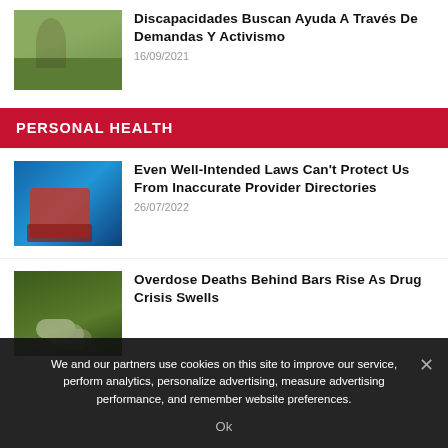[Figure (photo): Outdoor scene with people on grass under trees]
Discapacidades Buscan Ayuda A Través De Demandas Y Activismo
16/09/2021
PERSONAL HEALTH
[Figure (photo): Close-up of blue background with red bag/luggage]
Even Well-Intended Laws Can't Protect Us From Inaccurate Provider Directories
26/07/2022
[Figure (photo): Green background with pills or drug-related items]
Overdose Deaths Behind Bars Rise As Drug Crisis Swells
We and our partners use cookies on this site to improve our service, perform analytics, personalize advertising, measure advertising performance, and remember website preferences.
Ok